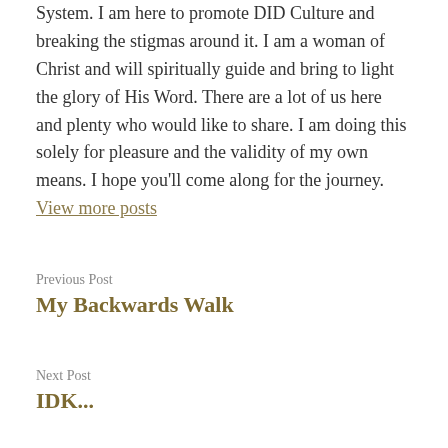System. I am here to promote DID Culture and breaking the stigmas around it. I am a woman of Christ and will spiritually guide and bring to light the glory of His Word. There are a lot of us here and plenty who would like to share. I am doing this solely for pleasure and the validity of my own means. I hope you'll come along for the journey. View more posts
Previous Post
My Backwards Walk
Next Post
IDK...